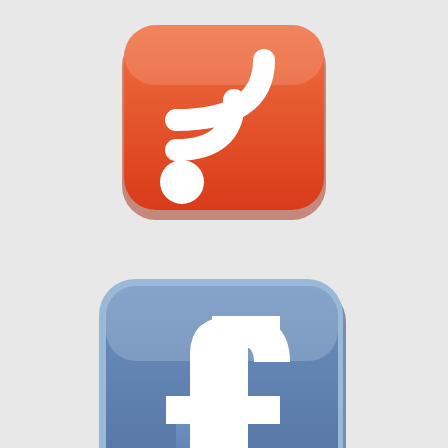[Figure (logo): RSS feed icon — orange-red rounded square with white RSS signal/wifi symbol (circle at bottom-left with two curved arcs above it)]
[Figure (logo): Facebook icon — steel-blue rounded square with a white lowercase 'f' logo, with a bevel/raised 3D effect on the border]